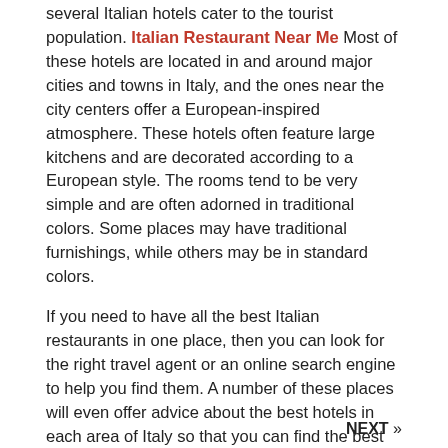several Italian hotels cater to the tourist population. Italian Restaurant Near Me Most of these hotels are located in and around major cities and towns in Italy, and the ones near the city centers offer a European-inspired atmosphere. These hotels often feature large kitchens and are decorated according to a European style. The rooms tend to be very simple and are often adorned in traditional colors. Some places may have traditional furnishings, while others may be in standard colors.
If you need to have all the best Italian restaurants in one place, then you can look for the right travel agent or an online search engine to help you find them. A number of these places will even offer advice about the best hotels in each area of Italy so that you can find the best restaurant for your needs.
« PREVIOUS
Things to Consider When Searching For an Italian Restaurant Near Me
NEXT »